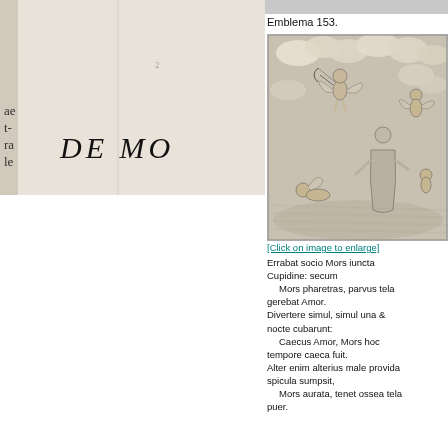[Figure (illustration): Left half of a two-page spread showing a book page with partial text in left margin (letters: ae, t-, ra, le) and large italic heading 'DE MO' (truncated) on an aged paper background.]
Emblema 153.
[Figure (illustration): Engraving depicting allegorical scene with winged figures (Amor/Cupid and Mors/Death) among clouds, with figures on the ground.]
[Click on image to enlarge]
Errabat socio Mors iuncta Cupidine: secum
   Mors pharetras, parvus tela gerebat Amor.
Divertere simul, simul una & nocte cubarunt:
   Caecus Amor, Mors hoc tempore caeca fuit.
Alter enim alterius male provida spicula sumpsit,
   Mors aurata, tenet ossea tela puer.